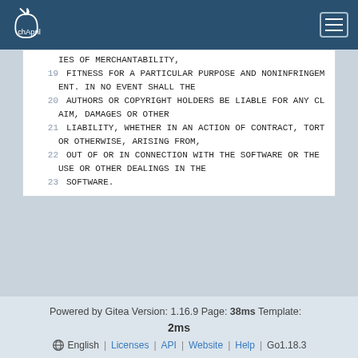chApril
IES OF MERCHANTABILITY,
19 FITNESS FOR A PARTICULAR PURPOSE AND NONINFRINGEMENT. IN NO EVENT SHALL THE
20 AUTHORS OR COPYRIGHT HOLDERS BE LIABLE FOR ANY CLAIM, DAMAGES OR OTHER
21 LIABILITY, WHETHER IN AN ACTION OF CONTRACT, TORT OR OTHERWISE, ARISING FROM,
22 OUT OF OR IN CONNECTION WITH THE SOFTWARE OR THE USE OR OTHER DEALINGS IN THE
23 SOFTWARE.
Powered by Gitea Version: 1.16.9 Page: 38ms Template: 2ms | English | Licenses | API | Website | Help | Go1.18.3